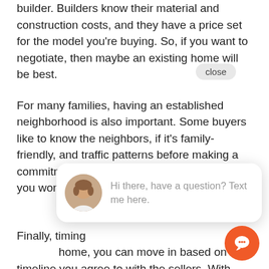builder. Builders know their material and construction costs, and they have a price set for the model you're buying. So, if you want to negotiate, then maybe an existing home will be best.
For many families, having an established neighborhood is also important. Some buyers like to know the neighbors, if it's family-friendly, and traffic patterns before making a commitment. When you buy new construction, you won't have a full view of some … you are sold.
Finally, timing … home, you can move in based on the timeline you agree to with the sellers. With new construction, you need to wait for the house to be built. Depending on the time of the year you're buying,
[Figure (screenshot): Chat popup overlay with avatar photo of a woman, text 'Hi there, have a question? Text me here.' with a close button and orange chat icon button.]